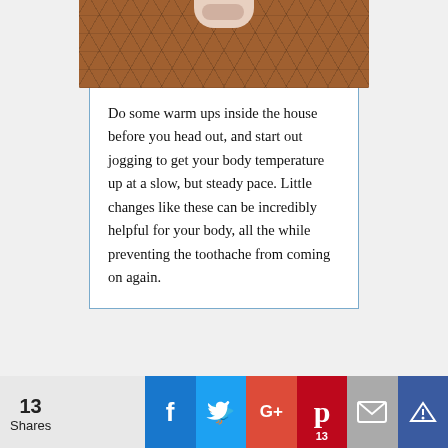[Figure (photo): Close-up photo of a person's sneakered feet on a cobblestone or hexagonal patterned ground, viewed from above. Brown/terracotta tiled surface with a pink and white sneaker visible at top.]
Do some warm ups inside the house before you head out, and start out jogging to get your body temperature up at a slow, but steady pace. Little changes like these can be incredibly helpful for your body, all the while preventing the toothache from coming on again.
13 Shares